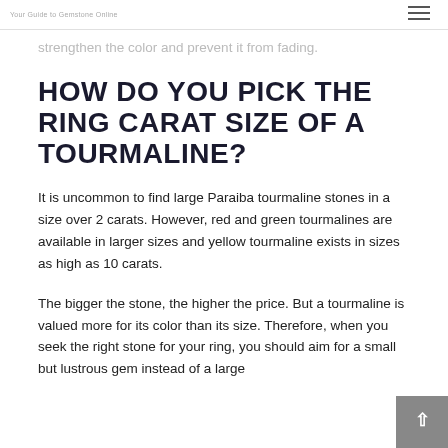Your Guide to Gemstone Online
strengthen the color and prevent it from fading.
HOW DO YOU PICK THE RING CARAT SIZE OF A TOURMALINE?
It is uncommon to find large Paraiba tourmaline stones in a size over 2 carats. However, red and green tourmalines are available in larger sizes and yellow tourmaline exists in sizes as high as 10 carats.
The bigger the stone, the higher the price. But a tourmaline is valued more for its color than its size. Therefore, when you seek the right stone for your ring, you should aim for a small but lustrous gem instead of a large